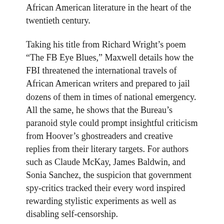African American literature in the heart of the twentieth century.
Taking his title from Richard Wright's poem “The FB Eye Blues,” Maxwell details how the FBI threatened the international travels of African American writers and prepared to jail dozens of them in times of national emergency. All the same, he shows that the Bureau’s paranoid style could prompt insightful criticism from Hoover’s ghostreaders and creative replies from their literary targets. For authors such as Claude McKay, James Baldwin, and Sonia Sanchez, the suspicion that government spy-critics tracked their every word inspired rewarding stylistic experiments as well as disabling self-censorship.
Illuminating both the serious harms of state surveillance and the ways in which imaginative writing can withstand and exploit it, F.B. Eyes is a groundbreaking account of a long-hidden dimension of African American literature.